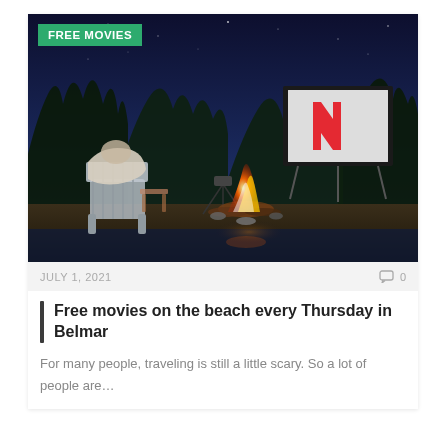[Figure (photo): Outdoor movie night scene: a person wrapped in blankets on a white Adirondack chair, a campfire burning brightly, a projector on a tripod, and a large screen displaying the Netflix logo (red N), set against a dark blue night sky with trees in the background near water.]
FREE MOVIES
JULY 1, 2021
0
Free movies on the beach every Thursday in Belmar
For many people, traveling is still a little scary. So a lot of people are…